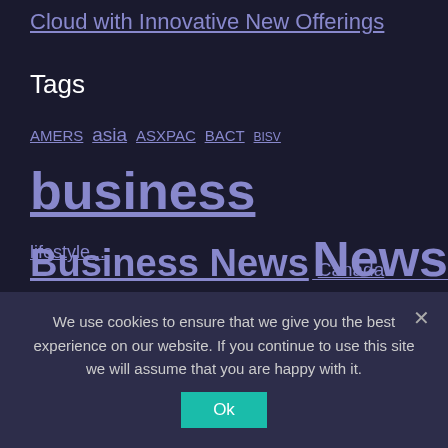Cloud with Innovative New Offerings
Tags
AMERS asia ASXPAC BACT BISV business Business News Canada CEN China CMPNY Earnings ECON economy EMRG Entrepreneurs Europe FIN finance FINS08 GEN health India Indian express Inflation Innovation JOB jobs Leadership lifestyle... News...
We use cookies to ensure that we give you the best experience on our website. If you continue to use this site we will assume that you are happy with it.